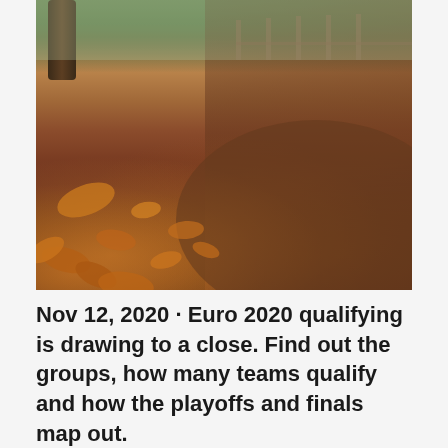[Figure (photo): Autumn outdoor scene showing fallen orange and brown leaves on a dirt path, with green grass patches visible, a tree trunk on the left, and wooden posts/fence in the blurred background.]
Nov 12, 2020 · Euro 2020 qualifying is drawing to a close. Find out the groups, how many teams qualify and how the playoffs and finals map out.
Form definitely favors the Russians, who have scored